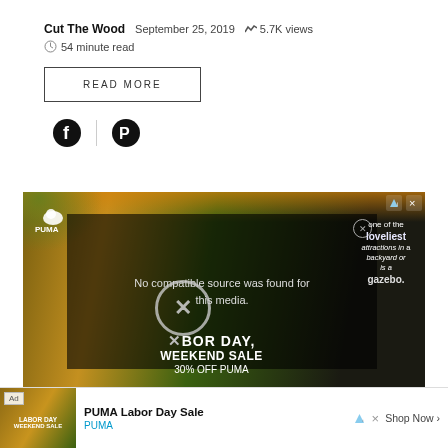Cut The Wood   September 25, 2019   5.7K views   54 minute read
READ MORE
[Figure (other): Social share icons: Facebook and Pinterest]
[Figure (photo): PUMA Labor Day Weekend Sale advertisement. Overlaid video player showing 'No compatible source was found for this media.' Text on ad reads: LABOR DAY WEEKEND SALE 30% OFF PUMA. Background shows basketball/athletic imagery. Right side text reads: one of the loveliest attractions in a backyard or is a gazebo.]
PUMA Labor Day Sale
[Figure (other): Bottom ad banner: Ad label, PUMA image, text 'PUMA Labor Day Sale', 'PUMA', 'Shop Now >']